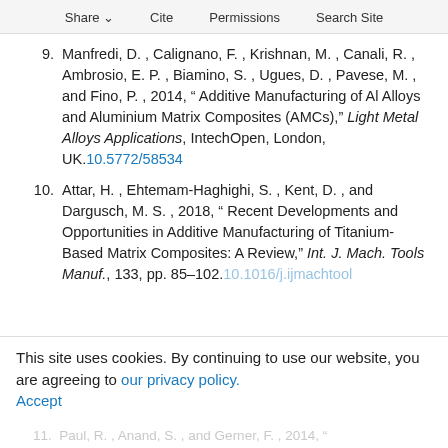Share  Cite  Permissions  Search Site
9. Manfredi, D. , Calignano, F. , Krishnan, M. , Canali, R. , Ambrosio, E. P. , Biamino, S. , Ugues, D. , Pavese, M. , and Fino, P. , 2014, “ Additive Manufacturing of Al Alloys and Aluminium Matrix Composites (AMCs),” Light Metal Alloys Applications, IntechOpen, London, UK.10.5772/58534
10. Attar, H. , Ehtemam-Haghighi, S. , Kent, D. , and Dargusch, M. S. , 2018, “ Recent Developments and Opportunities in Additive Manufacturing of Titanium-Based Matrix Composites: A Review,” Int. J. Mach. Tools Manuf., 133, pp. 85–102.10.1016/j.ijmachtools
This site uses cookies. By continuing to use our website, you are agreeing to our privacy policy. Accept
11. Paul, R. , Anand, S. , and Gerner, F. , 2014, “